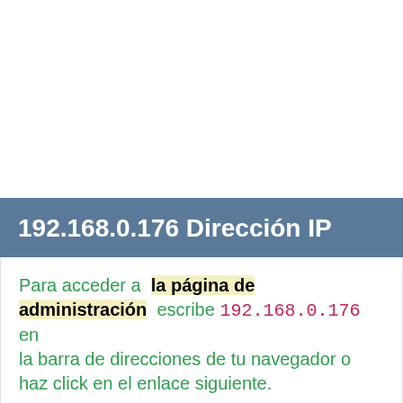192.168.0.176 Dirección IP
Para acceder a la página de administración escribe 192.168.0.176 en la barra de direcciones de tu navegador o haz click en el enlace siguiente.
[Figure (other): Yellow button labeled Identificación]
[Figure (other): Gray button labeled Administración]
Basado en tu dirección ip local, esta deberia ser tu dirección ip de